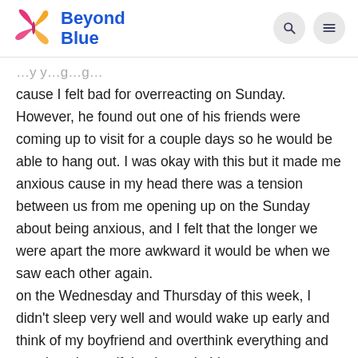[Figure (logo): Beyond Blue logo with butterfly icon in pink and yellow/orange, and 'Beyond Blue' text in blue]
cause I felt bad for overreacting on Sunday. However, he found out one of his friends were coming up to visit for a couple days so he would be able to hang out. I was okay with this but it made me anxious cause in my head there was a tension between us from me opening up on the Sunday about being anxious, and I felt that the longer we were apart the more awkward it would be when we saw each other again.
on the Wednesday and Thursday of this week, I didn't sleep very well and would wake up early and think of my boyfriend and overthink everything and convinced myself that he probably